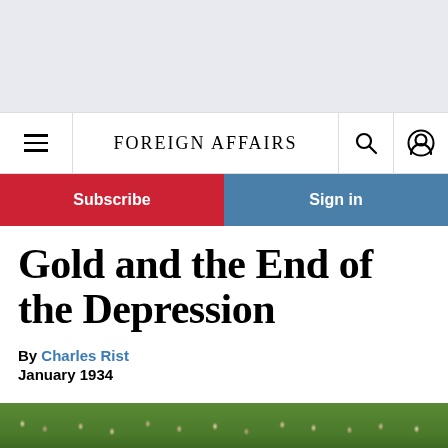[Figure (other): Gray advertisement banner area at top of page]
FOREIGN AFFAIRS
Subscribe
Sign in
Gold and the End of the Depression
By Charles Rist
January 1934
[Figure (photo): Crowd photo at bottom of page, showing people outdoors with green foliage]